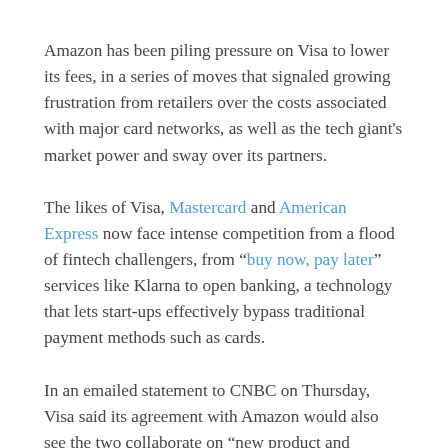Amazon has been piling pressure on Visa to lower its fees, in a series of moves that signaled growing frustration from retailers over the costs associated with major card networks, as well as the tech giant's market power and sway over its partners.
The likes of Visa, Mastercard and American Express now face intense competition from a flood of fintech challengers, from “buy now, pay later” services like Klarna to open banking, a technology that lets start-ups effectively bypass traditional payment methods such as cards.
In an emailed statement to CNBC on Thursday, Visa said its agreement with Amazon would also see the two collaborate on “new product and technology initiatives to ensure innovative payment experiences for our customers